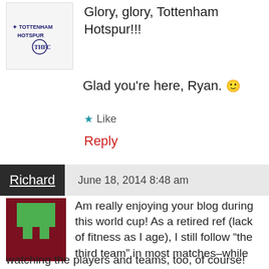Glory, glory, Tottenham Hotspur!!!
Glad you're here, Ryan. 🙂
Like
Reply
Richard   June 18, 2014 8:48 am
[Figure (illustration): Richard's avatar: dark red/maroon background with green pixel-art figure shape]
Am really enjoying your blog during this world cup! As a retired ref (lack of fitness as I age), I still follow "the third team" in most matches–while watching the players and teams, too, of course! Nice commentary! Balance of technical and "reasoned fan in the stands" point of view. Very